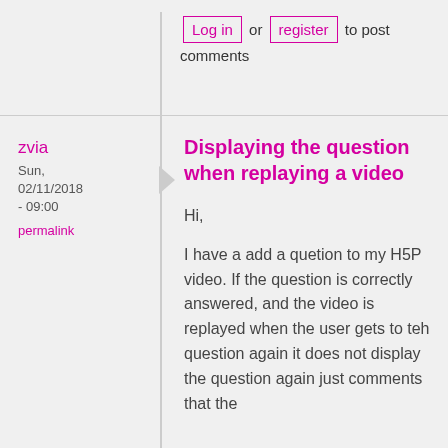Log in or register to post comments
zvia
Sun, 02/11/2018 - 09:00
permalink
Displaying the question when replaying a video
Hi,
I have a add a quetion to my H5P video. If the question is correctly answered, and the video is replayed when the user gets to teh question again it does not display the question again just comments that the